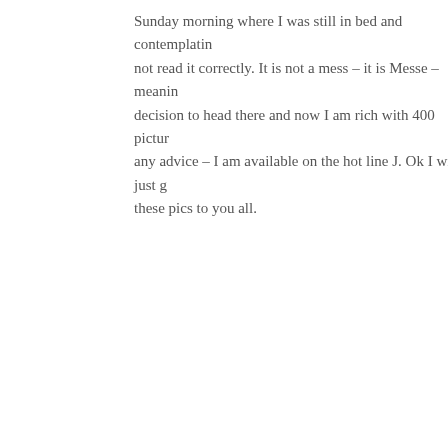Sunday morning where I was still in bed and contemplating not read it correctly. It is not a mess – it is Messe – meaning decision to head there and now I am rich with 400 pictures any advice – I am available on the hot line J. Ok I will just these pics to you all.
[Figure (photo): Partial view of a photograph or image, mostly white/light colored, positioned at the right side of the page]